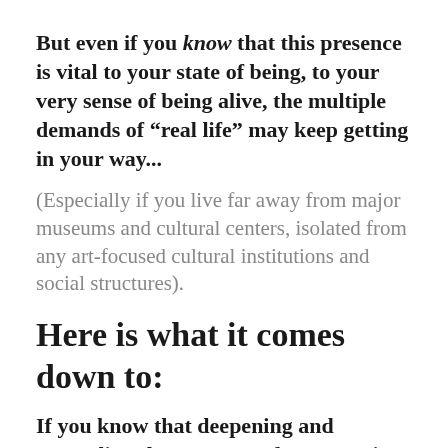But even if you know that this presence is vital to your state of being, to your very sense of being alive, the multiple demands of “real life” may keep getting in your way...
(Especially if you live far away from major museums and cultural centers, isolated from any art-focused cultural institutions and social structures).
Here is what it comes down to:
If you know that deepening and expanding the presence of great art in